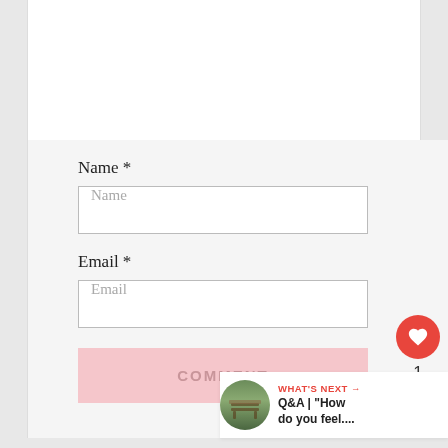Name *
Name
Email *
Email
COMMENT
1
WHAT'S NEXT → Q&A | "How do you feel...."